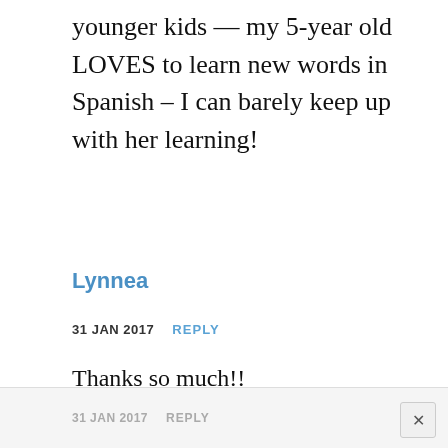younger kids — my 5-year old LOVES to learn new words in Spanish – I can barely keep up with her learning!
Lynnea
31 JAN 2017   REPLY
Thanks so much!!
Katie
31 JAN 2017   REPLY